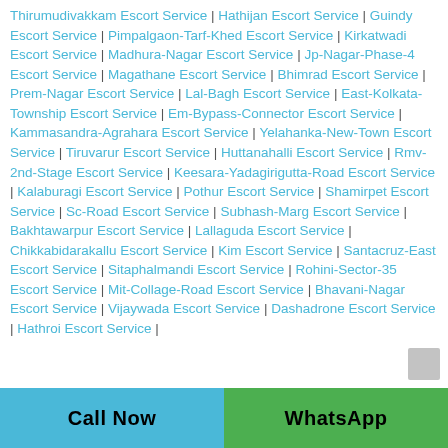Thirumudivakkam Escort Service | Hathijan Escort Service | Guindy Escort Service | Pimpalgaon-Tarf-Khed Escort Service | Kirkatwadi Escort Service | Madhura-Nagar Escort Service | Jp-Nagar-Phase-4 Escort Service | Magathane Escort Service | Bhimrad Escort Service | Prem-Nagar Escort Service | Lal-Bagh Escort Service | East-Kolkata-Township Escort Service | Em-Bypass-Connector Escort Service | Kammasandra-Agrahara Escort Service | Yelahanka-New-Town Escort Service | Tiruvarur Escort Service | Huttanahalli Escort Service | Rmv-2nd-Stage Escort Service | Keesara-Yadagirigutta-Road Escort Service | Kalaburagi Escort Service | Pothur Escort Service | Shamirpet Escort Service | Sc-Road Escort Service | Subhash-Marg Escort Service | Bakhtawarpur Escort Service | Lallaguda Escort Service | Chikkabidarakallu Escort Service | Kim Escort Service | Santacruz-East Escort Service | Sitaphalmandi Escort Service | Rohini-Sector-35 Escort Service | Mit-Collage-Road Escort Service | Bhavani-Nagar Escort Service | Vijaywada Escort Service | Dashadrone Escort Service | Hathroi Escort Service |
Call Now   WhatsApp